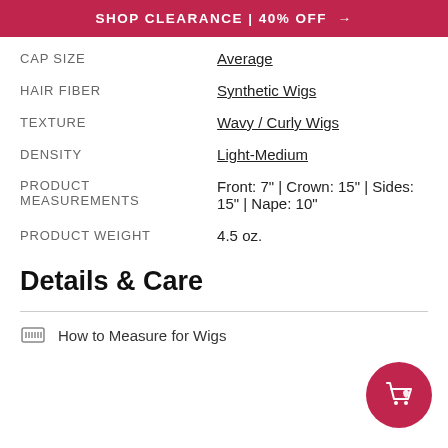SHOP CLEARANCE | 40% OFF →
| CAP SIZE | Average |
| HAIR FIBER | Synthetic Wigs |
| TEXTURE | Wavy / Curly Wigs |
| DENSITY | Light-Medium |
| PRODUCT MEASUREMENTS | Front: 7" | Crown: 15" | Sides: 15" | Nape: 10" |
| PRODUCT WEIGHT | 4.5 oz. |
Details & Care
How to Measure for Wigs